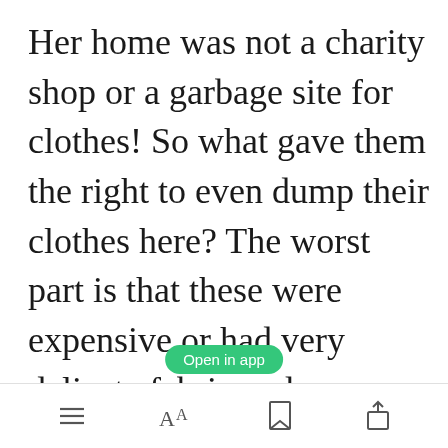Her home was not a charity shop or a garbage site for clothes! So what gave them the right to even dump their clothes here? The worst part is that these were expensive or had very delicate fabric and stitchings leaving her to wonder what was even wrong with them. Once again she took the garment after getting ready to go outside and went to village to sell the yukata.